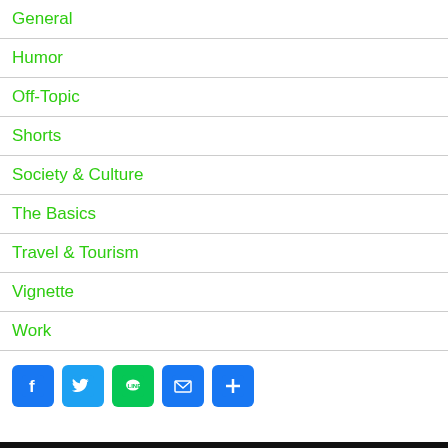General
Humor
Off-Topic
Shorts
Society & Culture
The Basics
Travel & Tourism
Vignette
Work
[Figure (other): Social sharing icons: Facebook, Twitter, LINE, Email, and a share/plus button]